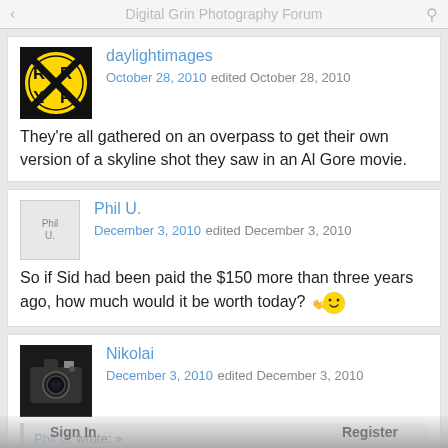Digital Grin Photography Forum
daylightimages
October 28, 2010 edited October 28, 2010
They're all gathered on an overpass to get their own version of a skyline shot they saw in an Al Gore movie.
Phil U.
December 3, 2010 edited December 3, 2010
So if Sid had been paid the $150 more than three years ago, how much would it be worth today?
Nikolai
December 3, 2010 edited December 3, 2010
Phil U. wrote: »
So if Sid had been paid the $150 more than three years ago, how much would it be worth today?
Sign In   Register